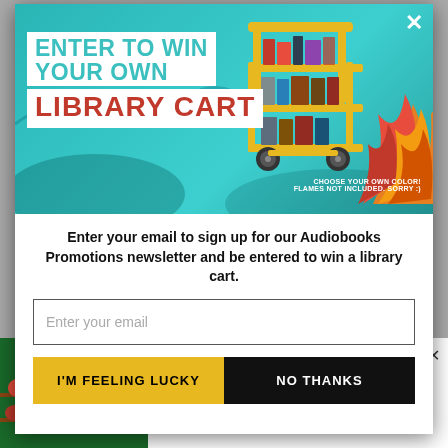[Figure (illustration): Promotional popup modal. Top section has teal background with yellow library book cart with flames, text overlay reading ENTER TO WIN YOUR OWN LIBRARY CART. Bottom section has email signup form and two buttons: I'M FEELING LUCKY and NO THANKS. A secondary ad appears at the bottom: MOST ADULTS WITH MEDICARE DON'T KNOW THIS...]
ENTER TO WIN YOUR OWN LIBRARY CART
Enter your email to sign up for our Audiobooks Promotions newsletter and be entered to win a library cart.
Enter your email
I'M FEELING LUCKY
NO THANKS
MOST ADULTS WITH MEDICARE DON'T KNOW THIS...
Qualify Medic | Sponsored
ding Puerto Rico and all ust 31, 2022. Winner will nts available here.